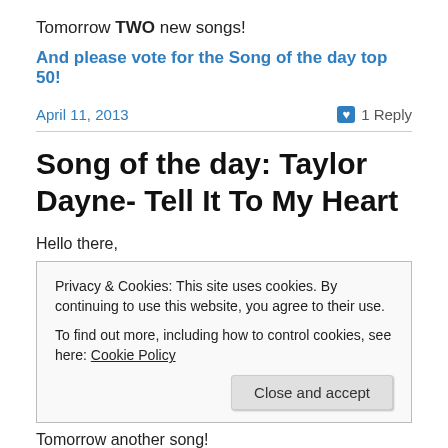Tomorrow TWO new songs!
And please vote for the Song of the day top 50!
April 11, 2013
1 Reply
Song of the day: Taylor Dayne- Tell It To My Heart
Hello there,
Privacy & Cookies: This site uses cookies. By continuing to use this website, you agree to their use.
To find out more, including how to control cookies, see here: Cookie Policy
Close and accept
Tomorrow another song!